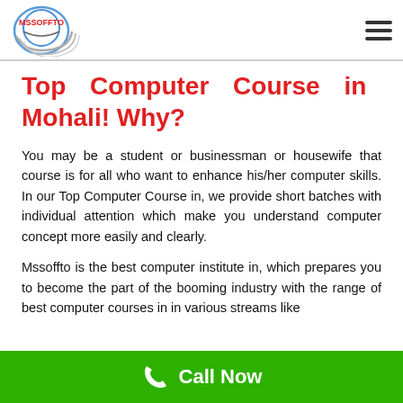[Figure (logo): MSSOFFTO logo with circular swoosh lines and text]
Top Computer Course in Mohali! Why?
You may be a student or businessman or housewife that course is for all who want to enhance his/her computer skills. In our Top Computer Course in, we provide short batches with individual attention which make you understand computer concept more easily and clearly.
Mssoffto is the best computer institute in, which prepares you to become the part of the booming industry with the range of best computer courses in in various streams like
Call Now